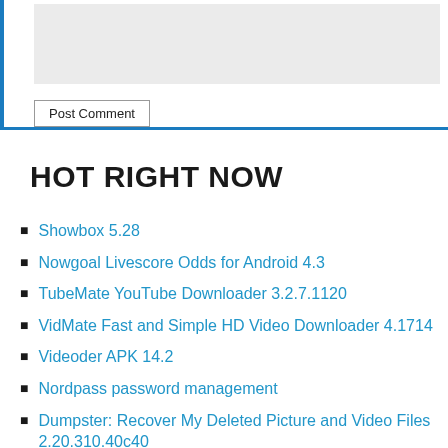[Figure (screenshot): Web form area with a grey textarea and Post Comment button, bordered on left and bottom with blue lines]
HOT RIGHT NOW
Showbox 5.28
Nowgoal Livescore Odds for Android 4.3
TubeMate YouTube Downloader 3.2.7.1120
VidMate Fast and Simple HD Video Downloader 4.1714
Videoder APK 14.2
Nordpass password management
Dumpster: Recover My Deleted Picture and Video Files 2.20.310.40c40